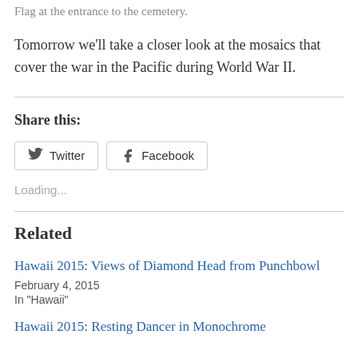Flag at the entrance to the cemetery.
Tomorrow we'll take a closer look at the mosaics that cover the war in the Pacific during World War II.
Share this:
[Figure (other): Twitter and Facebook share buttons]
Loading...
Related
Hawaii 2015: Views of Diamond Head from Punchbowl
February 4, 2015
In "Hawaii"
Hawaii 2015: Resting Dancer in Monochrome